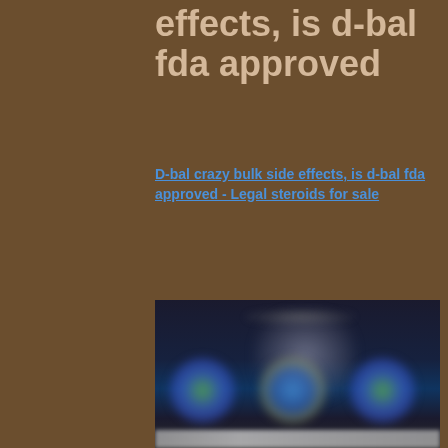effects, is d-bal fda approved
D-bal crazy bulk side effects, is d-bal fda approved - Legal steroids for sale
[Figure (photo): Blurred promotional image showing a muscular figure silhouette with supplement product bottles at the bottom against a dark background]